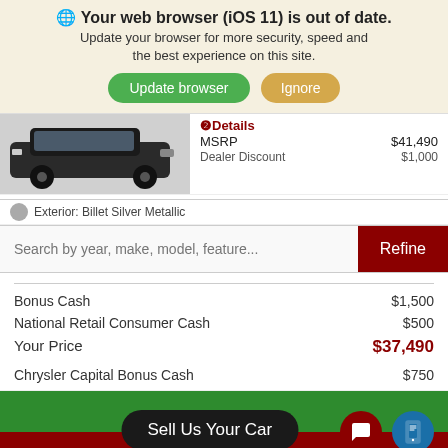Your web browser (iOS 11) is out of date. Update your browser for more security, speed and the best experience on this site.
Update browser | Ignore
[Figure (photo): Partial view of a dark-colored SUV/truck]
❷Details
| Item | Price |
| --- | --- |
| MSRP | $41,490 |
| Dealer Discount | $1,000 |
Exterior: Billet Silver Metallic
Search by year, make, model, feature...  Refine
| Item | Price |
| --- | --- |
| Bonus Cash | $1,500 |
| National Retail Consumer Cash | $500 |
| Your Price | $37,490 |
| Chrysler Capital Bonus Cash | $750 |
Sell Us Your Car
Instant Value Trade